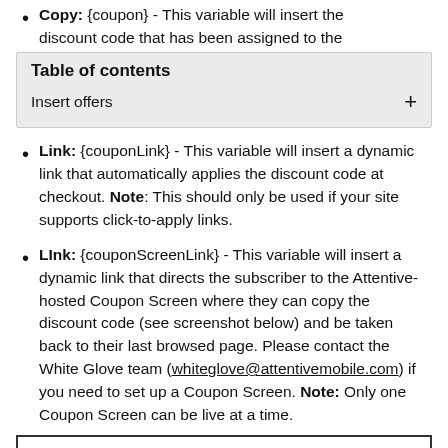Copy: {coupon} - This variable will insert the discount code that has been assigned to the
| Table of contents |
| --- |
| Insert offers | + |
Link: {couponLink} - This variable will insert a dynamic link that automatically applies the discount code at checkout. Note: This should only be used if your site supports click-to-apply links.
LInk: {couponScreenLink} - This variable will insert a dynamic link that directs the subscriber to the Attentive-hosted Coupon Screen where they can copy the discount code (see screenshot below) and be taken back to their last browsed page. Please contact the White Glove team (whiteglove@attentivemobile.com) if you need to set up a Coupon Screen. Note: Only one Coupon Screen can be live at a time.
[Figure (screenshot): Screenshot box showing a coupon screen interface (partial view at bottom of page)]